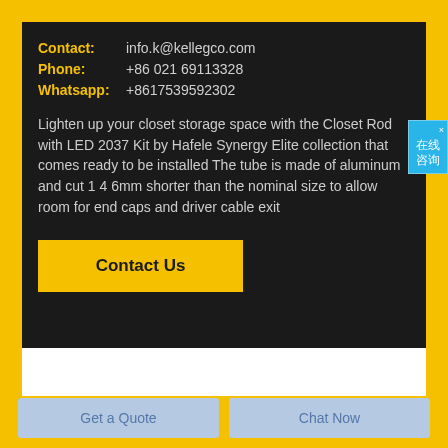Contact: info.k@kellegco.com
Phone: +86 021 69113328
Whatsapp: +8617539592302
Lighten up your closet storage space with the Closet Rod with LED 2037 Kit by Hafele Synergy Elite collection that comes ready to be installed The tube is made of aluminum and cut 1 4 6mm shorter than the nominal size to allow room for end caps and driver cable exit
Contact Us
在线咨询
Get a Quote
Chat Now